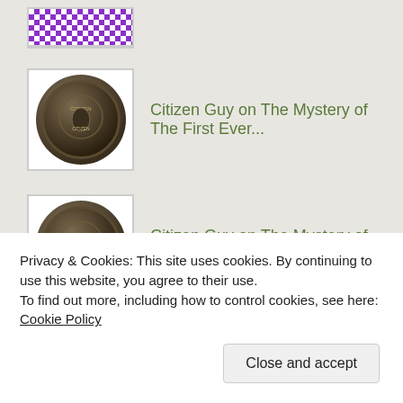[Figure (illustration): Partially visible purple pixel/mosaic pattern avatar at top of page]
Citizen Guy on The Mystery of The First Ever...
[Figure (photo): Round dark coin/medal with 'CITIZEN' text, first instance]
Citizen Guy on The Mystery of The First Ever...
[Figure (photo): Round dark coin/medal with 'CITIZEN' text, second instance]
Archives
February 2021
Privacy & Cookies: This site uses cookies. By continuing to use this website, you agree to their use.
To find out more, including how to control cookies, see here: Cookie Policy
Close and accept